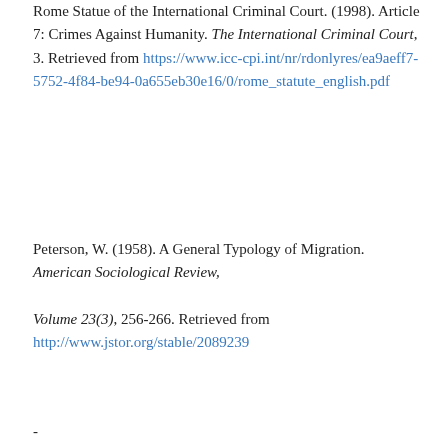Rome Statue of the International Criminal Court. (1998). Article 7: Crimes Against Humanity. The International Criminal Court, 3. Retrieved from https://www.icc-cpi.int/nr/rdonlyres/ea9aeff7-5752-4f84-be94-0a655eb30e16/0/rome_statute_english.pdf
Peterson, W. (1958). A General Typology of Migration. American Sociological Review, Volume 23(3), 256-266. Retrieved from http://www.jstor.org/stable/2089239
-